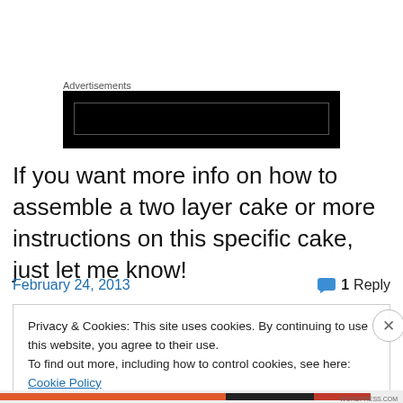Advertisements
[Figure (other): Black advertisement banner block]
If you want more info on how to assemble a two layer cake or more instructions on this specific cake, just let me know!
February 24, 2013   💬 1 Reply
Privacy & Cookies: This site uses cookies. By continuing to use this website, you agree to their use.
To find out more, including how to control cookies, see here: Cookie Policy